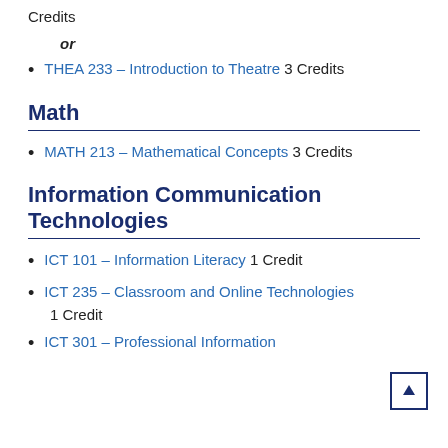Credits
or
THEA 233 – Introduction to Theatre 3 Credits
Math
MATH 213 – Mathematical Concepts 3 Credits
Information Communication Technologies
ICT 101 – Information Literacy 1 Credit
ICT 235 – Classroom and Online Technologies 1 Credit
ICT 301 – Professional Information